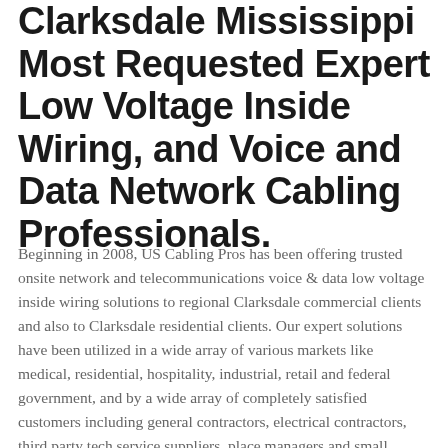Clarksdale Mississippi Most Requested Expert Low Voltage Inside Wiring, and Voice and Data Network Cabling Professionals.
Beginning in 2008, US Cabling Pros has been offering trusted onsite network and telecommunications voice & data low voltage inside wiring solutions to regional Clarksdale commercial clients and also to Clarksdale residential clients. Our expert solutions have been utilized in a wide array of various markets like medical, residential, hospitality, industrial, retail and federal government, and by a wide array of completely satisfied customers including general contractors, electrical contractors, third party tech service suppliers, place managers and small business owners who just require seasoned cabling contractors to pull new cabling or repair existing voice and data infrastructure on an on